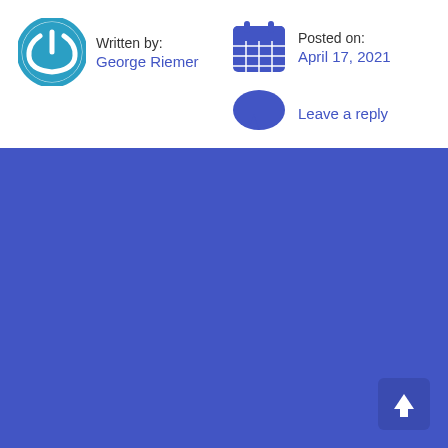Written by: George Riemer
Posted on: April 17, 2021
Leave a reply
[Figure (illustration): Blue background bottom half of page with a scroll-to-top button in the lower right corner]